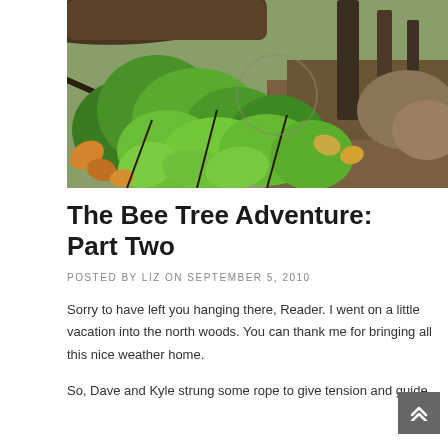[Figure (photo): Outdoor forest/woodland photo showing green leafy plants with oak-like leaves in foreground, fallen logs and tree trunks in background, some orange/yellow autumn leaves mixed in, natural lighting.]
The Bee Tree Adventure: Part Two
POSTED BY LIZ ON SEPTEMBER 5, 2010
Sorry to have left you hanging there, Reader. I went on a little vacation into the north woods. You can thank me for bringing all this nice weather home.
So, Dave and Kyle strung some rope to give tension and guide